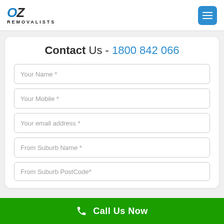OZ REMOVALISTS
Contact Us - 1800 842 066
Your Name *
Your Mobile *
Your email address *
From Suburb Name *
From Suburb PostCode*
Call Us Now